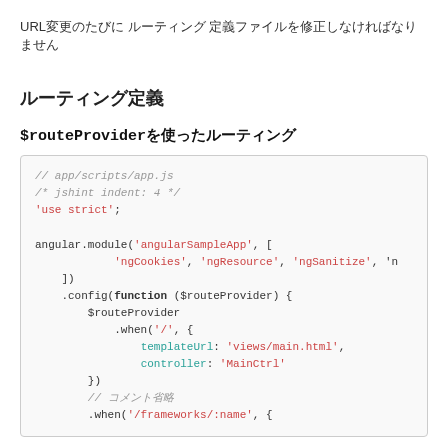URL変更のたびに ルーティング 定義ファイルを修正しなければなりません
ルーティング定義
$routeProviderを使ったルーティング
[Figure (screenshot): Code block showing AngularJS app.js with $routeProvider configuration: comments, 'use strict', angular.module('angularSampleApp', ['ngCookies', 'ngResource', 'ngSanitize', 'n...]), .config(function ($routeProvider) { $routeProvider .when('/', { templateUrl: 'views/main.html', controller: 'MainCtrl' }) // comment .when('/frameworks/:name', {]